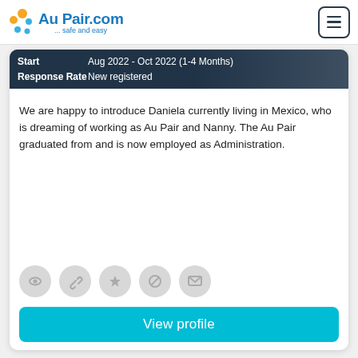AuPair.com ... safe and easy
[Figure (screenshot): Info banner showing Start: Aug 2022 - Oct 2022 (1-4 Months) and Response Rate: New registered, overlaid on a dark background]
We are happy to introduce Daniela currently living in Mexico, who is dreaming of working as Au Pair and Nanny. The Au Pair graduated from and is now employed as Administration.
[Figure (illustration): Row of five grey circular icon buttons]
[Figure (other): View profile button in cyan/turquoise color]